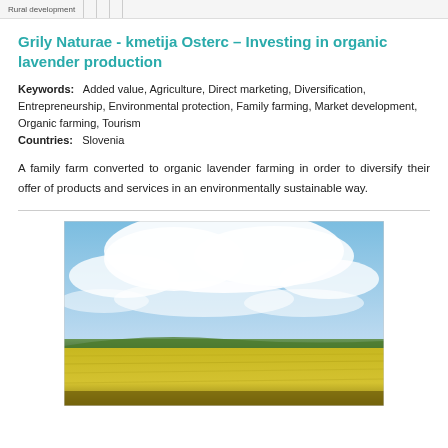Rural development
Grily Naturae - kmetija Osterc – Investing in organic lavender production
Keywords: Added value, Agriculture, Direct marketing, Diversification, Entrepreneurship, Environmental protection, Family farming, Market development, Organic farming, Tourism
Countries: Slovenia
A family farm converted to organic lavender farming in order to diversify their offer of products and services in an environmentally sustainable way.
[Figure (photo): Photograph of a rural farm landscape with yellow fields in the foreground and a blue sky with white clouds overhead, with distant trees on the horizon]